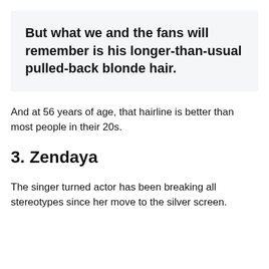But what we and the fans will remember is his longer-than-usual pulled-back blonde hair.
And at 56 years of age, that hairline is better than most people in their 20s.
3. Zendaya
The singer turned actor has been breaking all stereotypes since her move to the silver screen.